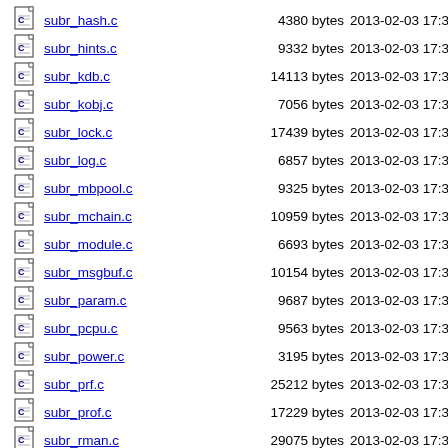subr_hash.c  4380 bytes  2013-02-03 17:31:58
subr_hints.c  9332 bytes  2013-02-03 17:31:58
subr_kdb.c  14113 bytes  2013-02-03 17:31:58
subr_kobj.c  7056 bytes  2013-02-03 17:31:58
subr_lock.c  17439 bytes  2013-02-03 17:31:58
subr_log.c  6857 bytes  2013-02-03 17:31:58
subr_mbpool.c  9325 bytes  2013-02-03 17:31:58
subr_mchain.c  10959 bytes  2013-02-03 17:31:58
subr_module.c  6693 bytes  2013-02-03 17:31:58
subr_msgbuf.c  10154 bytes  2013-02-03 17:31:58
subr_param.c  9687 bytes  2013-02-03 17:31:58
subr_pcpu.c  9563 bytes  2013-02-03 17:31:58
subr_power.c  3195 bytes  2013-02-03 17:31:58
subr_prf.c  25212 bytes  2013-02-03 17:31:58
subr_prof.c  17229 bytes  2013-02-03 17:31:58
subr_rman.c  29075 bytes  2013-02-03 17:31:58
subr_???  5857 bytes  2013-02-03 17:31:58